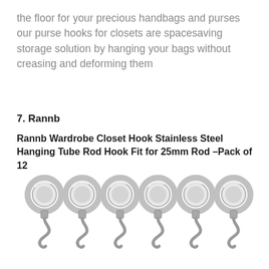the floor for your precious handbags and purses our purse hooks for closets are spacesaving storage solution by hanging your bags without creasing and deforming them
7. Rannb
Rannb Wardrobe Closet Hook Stainless Steel Hanging Tube Rod Hook Fit for 25mm Rod –Pack of 12
[Figure (photo): Six stainless steel closet rod hooks arranged in a row, each consisting of a circular ring clamp and an S-shaped hook below, made of polished silver metal.]